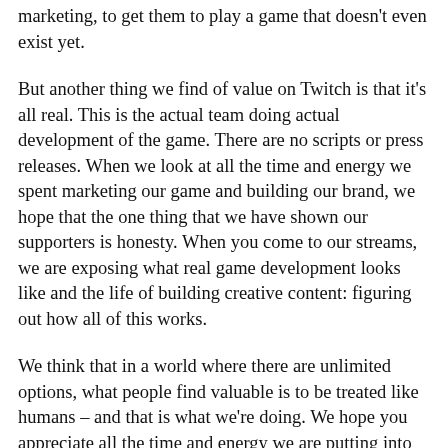marketing, to get them to play a game that doesn't even exist yet.
But another thing we find of value on Twitch is that it's all real. This is the actual team doing actual development of the game. There are no scripts or press releases. When we look at all the time and energy we spent marketing our game and building our brand, we hope that the one thing that we have shown our supporters is honesty. When you come to our streams, we are exposing what real game development looks like and the life of building creative content: figuring out how all of this works.
We think that in a world where there are unlimited options, what people find valuable is to be treated like humans – and that is what we're doing. We hope you appreciate all the time and energy we are putting into this as we share our real experiences and real lives of making games. Just like how earlier this week we had some extra livestreams of working on